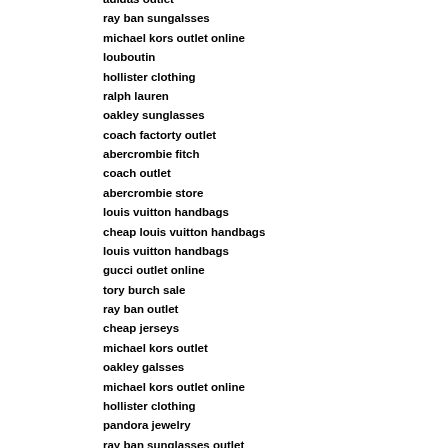adidas outlet
ray ban sungalsses
michael kors outlet online
louboutin
hollister clothing
ralph lauren
oakley sunglasses
coach factorty outlet
abercrombie fitch
coach outlet
abercrombie store
louis vuitton handbags
cheap louis vuitton handbags
louis vuitton handbags
gucci outlet online
tory burch sale
ray ban outlet
cheap jerseys
michael kors outlet
oakley galsses
michael kors outlet online
hollister clothing
pandora jewelry
ray ban sunglasses outlet
jrodan retro
gucci outlet
ray ban outlet
louis vuitton